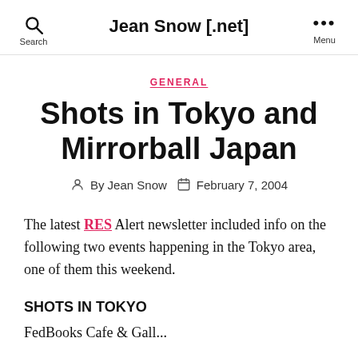Jean Snow [.net]
GENERAL
Shots in Tokyo and Mirrorball Japan
By Jean Snow  February 7, 2004
The latest RES Alert newsletter included info on the following two events happening in the Tokyo area, one of them this weekend.
SHOTS IN TOKYO
FedBooks Cafe & Gall...